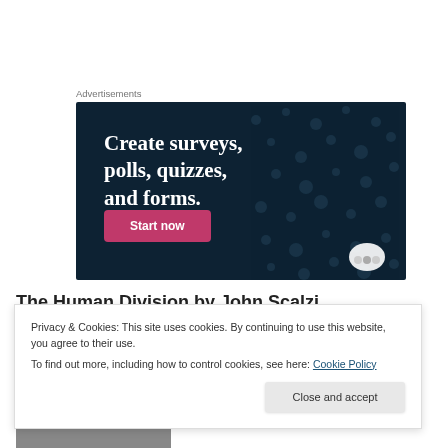Advertisements
[Figure (illustration): Advertisement banner with dark navy background and dot pattern. Text reads 'Create surveys, polls, quizzes, and forms.' with a pink 'Start now' button and a logo in the bottom right corner.]
The Human Division by John Scalzi
Privacy & Cookies: This site uses cookies. By continuing to use this website, you agree to their use.
To find out more, including how to control cookies, see here: Cookie Policy
Close and accept
[Figure (photo): Partially visible book cover at the bottom of the page with text 'BRANDON SANDERSON' on a dark background.]